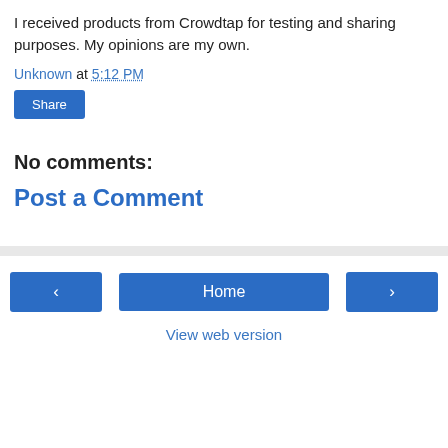I received products from Crowdtap for testing and sharing purposes. My opinions are my own.
Unknown at 5:12 PM
Share
No comments:
Post a Comment
< Home > View web version